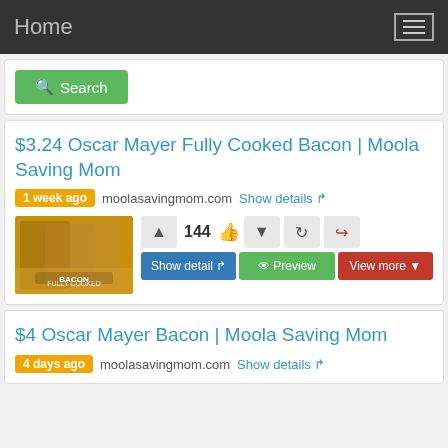Home
Search
$3.24 Oscar Mayer Fully Cooked Bacon | Moola Saving Mom
1 week ago  moolasavingmom.com  Show details
[Figure (photo): Product photo of Oscar Mayer Fully Cooked Bacon packages]
144  Show detail  Preview  View more
$4 Oscar Mayer Bacon | Moola Saving Mom
4 days ago  moolasavingmom.com  Show details